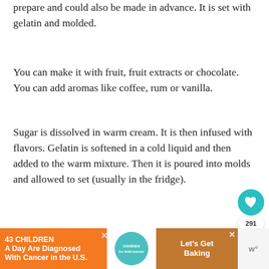prepare and could also be made in advance. It is set with gelatin and molded.
You can make it with fruit, fruit extracts or chocolate. You can add aromas like coffee, rum or vanilla.
Sugar is dissolved in warm cream. It is then infused with flavors. Gelatin is softened in a cold liquid and then added to the warm mixture. Then it is poured into molds and allowed to set (usually in the fridge).
[Figure (photo): Two-panel photo: left panel shows a bowl of white cream/panna cotta dessert from above; right panel shows metal spoons on a wooden surface, blurred background]
43 CHILDREN A Day Are Diagnosed With Cancer in the U.S.
cookies for kids' cancer
Let's Get Baking